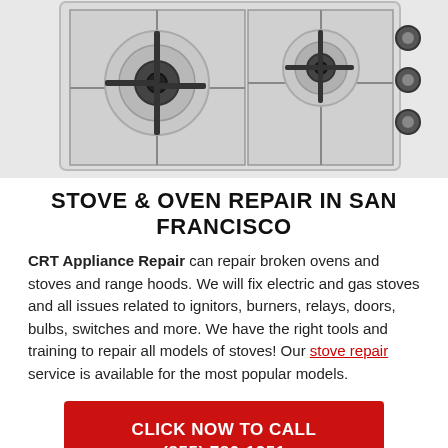[Figure (photo): Top-down view of a stainless steel gas stovetop with two visible burners and knobs on the right side]
STOVE & OVEN REPAIR IN SAN FRANCISCO
CRT Appliance Repair can repair broken ovens and stoves and range hoods. We will fix electric and gas stoves and all issues related to ignitors, burners, relays, doors, bulbs, switches and more. We have the right tools and training to repair all models of stoves! Our stove repair service is available for the most popular models.
CLICK NOW TO CALL
(855) 780-1251